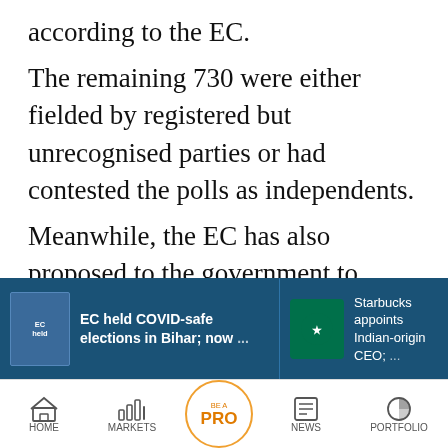according to the EC.
The remaining 730 were either fielded by registered but unrecognised parties or had contested the polls as independents.
Meanwhile, the EC has also proposed to the government to extend the Electronically Transmitted Postal Ballot System (ETPBS) facility, so far available to service voters, to eligible overseas Indian voters.
In a letter to the legislative secretary in Law Ministry on November 27, the Commission said
[Figure (screenshot): Blue banner with two news article thumbnails: 'EC held COVID-safe elections in Bihar; now...' and 'Starbucks appoints Indian-origin CEO;...']
[Figure (screenshot): App navigation bar with icons: HOME, MARKETS, BE A PRO, NEWS, PORTFOLIO]